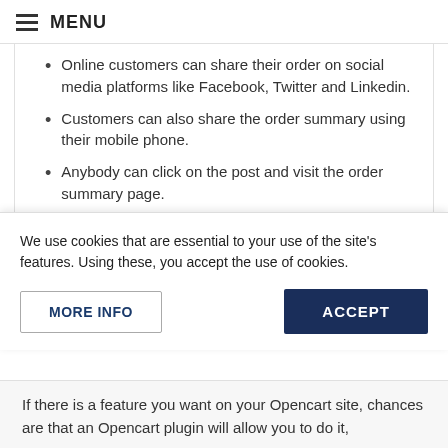MENU
Online customers can share their order on social media platforms like Facebook, Twitter and Linkedin.
Customers can also share the order summary using their mobile phone.
Anybody can click on the post and visit the order summary page.
Knowband, a leading name as an eCommerce development company provides Opencart plugin development services to enhance the functionality of
We use cookies that are essential to your use of the site's features. Using these, you accept the use of cookies.
MORE INFO
ACCEPT
If there is a feature you want on your Opencart site, chances are that an Opencart plugin will allow you to do it,